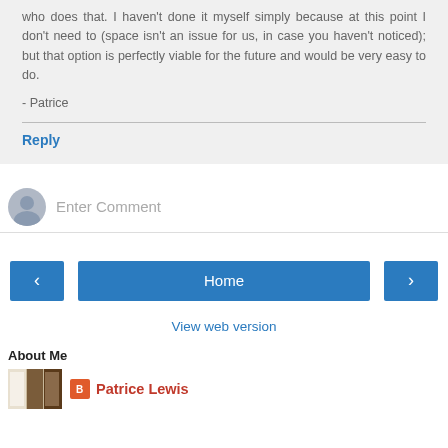who does that. I haven't done it myself simply because at this point I don't need to (space isn't an issue for us, in case you haven't noticed); but that option is perfectly viable for the future and would be very easy to do.
- Patrice
Reply
Enter Comment
[Figure (infographic): Navigation buttons: left arrow, Home, right arrow]
View web version
About Me
[Figure (photo): Thumbnail image of books/shelves]
Patrice Lewis